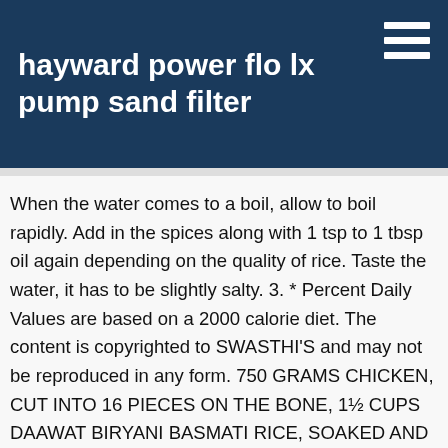hayward power flo lx pump sand filter
When the water comes to a boil, allow to boil rapidly. Add in the spices along with 1 tsp to 1 tbsp oil again depending on the quality of rice. Taste the water, it has to be slightly salty. 3. * Percent Daily Values are based on a 2000 calorie diet. The content is copyrighted to SWASTHI'S and may not be reproduced in any form. 750 GRAMS CHICKEN, CUT INTO 16 PIECES ON THE BONE, 1½ CUPS DAAWAT BIRYANI BASMATI RICE, SOAKED AND DRAINED, A GENEROUS PINCH OF SAFFRON, SOAKED IN WARM WATER. Pour 1.5 hot water and add salt. Alternative quantities provided in the recipe card are for 1x only, original recipe. Sorry Suguna I forgot to reply you. If making only layered biryani – like egg, prawns or fish biryani – rice has to be cooked to 90 to 100% based on the